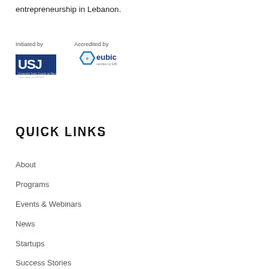entrepreneurship in Lebanon.
[Figure (logo): USJ (Université Saint-Joseph de Beyrouth) logo with text 'Initiated by' above it]
[Figure (logo): eubic certified by EBF logo with text 'Accredited by' above it]
QUICK LINKS
About
Programs
Events & Webinars
News
Startups
Success Stories
Facilities
Serviced Offices
Fab Lab